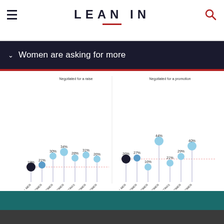LEAN IN
Women are asking for more
[Figure (grouped-bar-chart): Negotiated for a raise / Negotiated for a promotion]